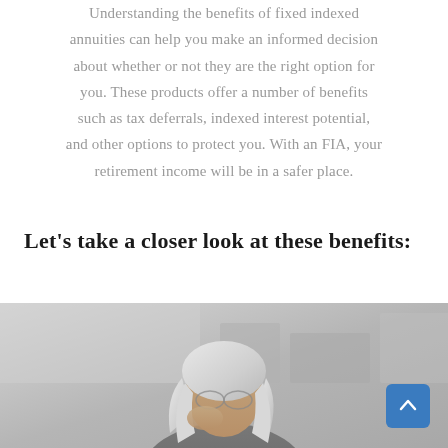Understanding the benefits of fixed indexed annuities can help you make an informed decision about whether or not they are the right option for you. These products offer a number of benefits such as tax deferrals, indexed interest potential, and other options to protect you. With an FIA, your retirement income will be in a safer place.
Let's take a closer look at these benefits:
[Figure (photo): Elderly woman with white/gray hair and glasses, looking down, photographed against a light gray background. A scroll-to-top button (blue square with upward chevron) is overlaid in the bottom-right corner.]